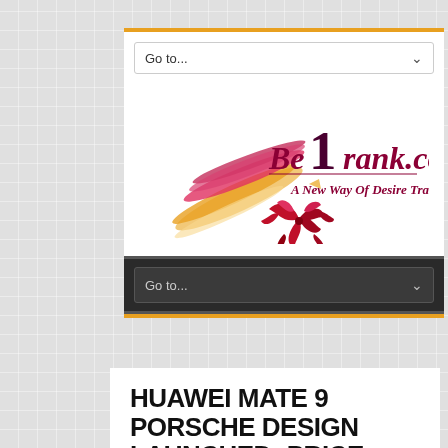[Figure (logo): Be1rank.com logo with pencil graphic and tagline 'A New Way Of Desire Track']
HUAWEI MATE 9 PORSCHE DESIGN LAUNCHED: PRICE, RELEASE DATE,